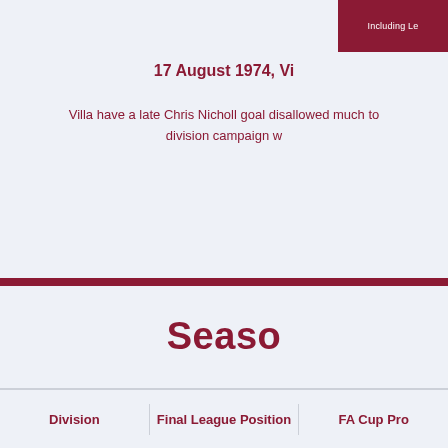Including Le
17 August 1974, Vi
Villa have a late Chris Nicholl goal disallowed much to division campaign w
Seaso
| Division | Final League Position | FA Cup Pro |
| --- | --- | --- |